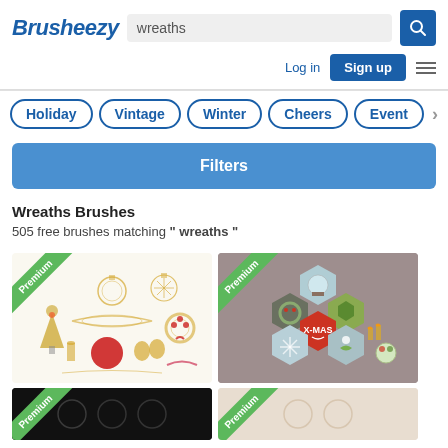Brusheezy — search: wreaths
Log in  Sign up
Holiday
Vintage
Winter
Cheers
Event
Filters
Wreaths Brushes
505 free brushes matching " wreaths "
[Figure (illustration): Christmas ornaments and decorations illustration — Premium badge]
[Figure (illustration): X-MAS flat design hexagon icons — Premium badge]
[Figure (illustration): Dark background Christmas brushes — Premium badge (partial)]
[Figure (illustration): Light background Christmas illustration — Premium badge (partial)]